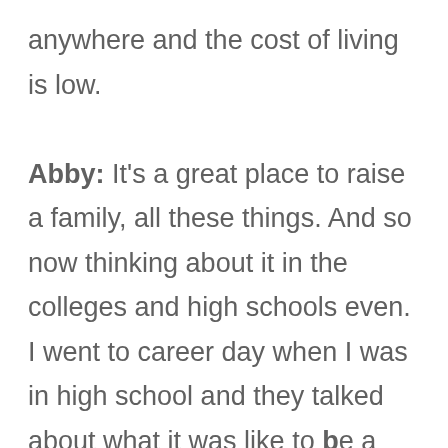anywhere and the cost of living is low.

Abby: It's a great place to raise a family, all these things. And so now thinking about it in the colleges and high schools even. I went to career day when I was in high school and they talked about what it was like to be a lawyer and what it was like to be a doctor and what it was like to be work in banking and all these kind of corporate jobs. I